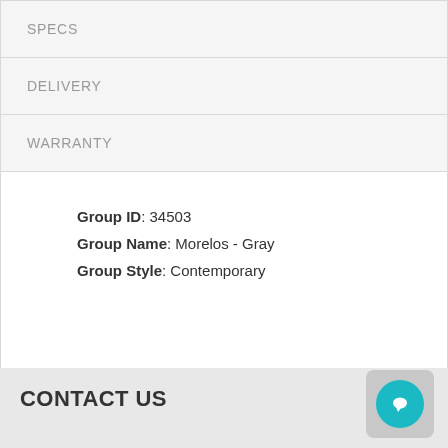SPECS
DELIVERY
WARRANTY
Group ID: 34503
Group Name: Morelos - Gray
Group Style: Contemporary
CONTACT US